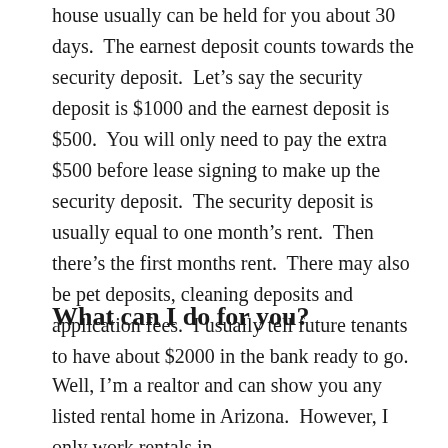house usually can be held for you about 30 days.  The earnest deposit counts towards the security deposit.  Let's say the security deposit is $1000 and the earnest deposit is $500.  You will only need to pay the extra $500 before lease signing to make up the security deposit.  The security deposit is usually equal to one month's rent.  Then there's the first months rent.  There may also be pet deposits, cleaning deposits and application fees.  I usually tell future tenants to have about $2000 in the bank ready to go.
What can I do for you?
Well, I'm a realtor and can show you any listed rental home in Arizona.  However, I only work rentals in